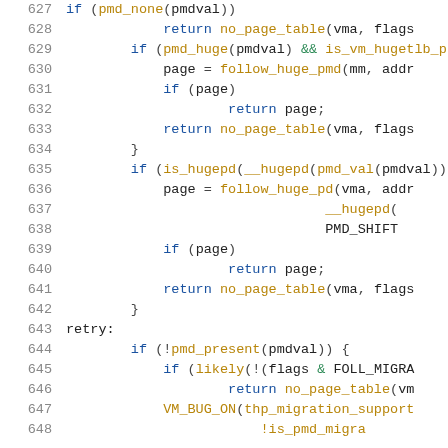[Figure (screenshot): Source code listing in C showing lines 627-648 of a kernel memory management function with syntax highlighting. Line numbers in gray on the left, keywords in blue, function names in dark gold/yellow, operators in green.]